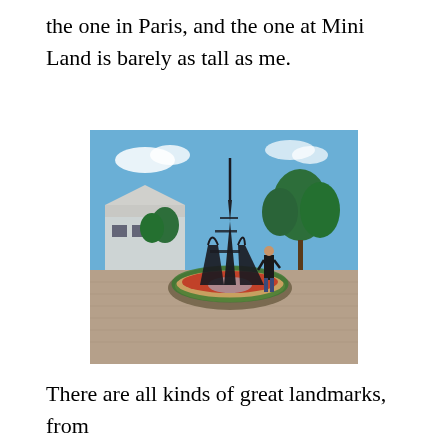the one in Paris, and the one at Mini Land is barely as tall as me.
[Figure (photo): A photo of a miniature Eiffel Tower replica in a park setting, surrounded by a circular flower bed with red flowers. A person stands next to the tower for scale. Blue sky with clouds in the background, trees and a building visible behind the tower. Brick paved ground in the foreground.]
There are all kinds of great landmarks, from